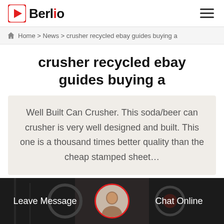Berlio
Home > News > crusher recycled ebay guides buying a
crusher recycled ebay guides buying a
Well Built Can Crusher. This soda/beer can crusher is very well designed and built. This one is a thousand times better quality than the cheap stamped sheet...
[Figure (screenshot): Bottom navigation bar with industrial/machinery background image, showing 'Leave Message' on the left, a circular avatar with red border in the center, and 'Chat Online' on the right, on a dark semi-transparent overlay.]